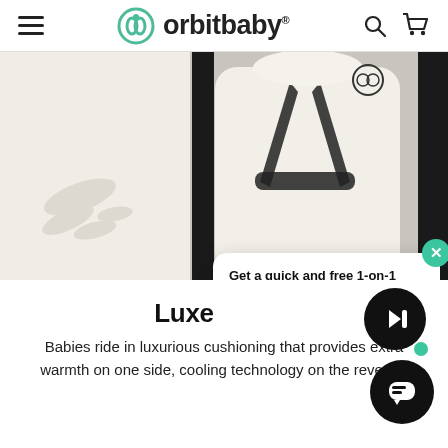orbit baby
[Figure (photo): Close-up photo of a baby stroller seat with cream/white cushioned fabric and black harness straps, with a hand impression foam visible on the left side]
Get a quick and free 1-on-1 product demo
LEARN MORE
Luxe
Babies ride in luxurious cushioning that provides extra warmth on one side, cooling technology on the reverse.